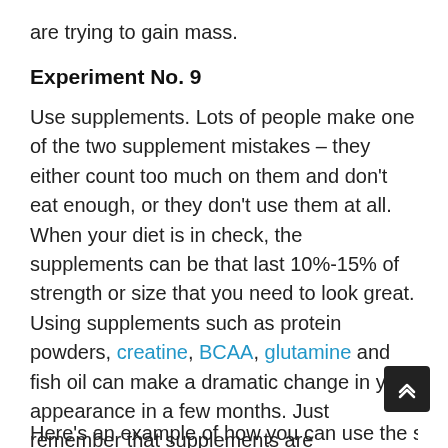are trying to gain mass.
Experiment No. 9
Use supplements. Lots of people make one of the two supplement mistakes – they either count too much on them and don't eat enough, or they don't use them at all. When your diet is in check, the supplements can be that last 10%-15% of strength or size that you need to look great. Using supplements such as protein powders, creatine, BCAA, glutamine and fish oil can make a dramatic change in your appearance in a few months. Just remember that supplements are supplements – an addition to your diet. They should not replace your food.
Here's an example of how you can use the should